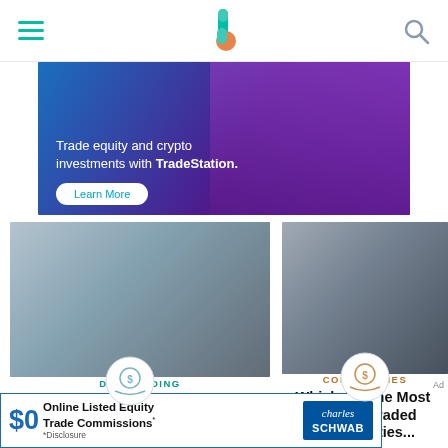Navigation bar with hamburger menu, site logo, and search icon
[Figure (photo): Advertisement banner: Man in purple shirt with fist raised, blue-purple gradient background. Text: 'Trade equity and crypto investments with TradeStation.' with a 'Learn More' button.]
[Figure (photo): Article card image: Man in white shirt sitting at desk with multiple monitors, thinking. Below: day trading icon (hand holding coin), category label DAY TRADING.]
DAY TRADING
20 Tips on How to Become Amazing at Day Trading
[Figure (photo): Article card image: Person wearing headset working at trading station with multiple monitors. Below: commodities icon (hand holding coin), category label COMMODITIES.]
COMMODITIES
Which Are the Most Actively Traded Commodities...
[Figure (photo): Advertisement banner at bottom: Charles Schwab ad. '$0 Online Listed Equity Trade Commissions*' with Charles Schwab logo and '*Disclosure' text.]